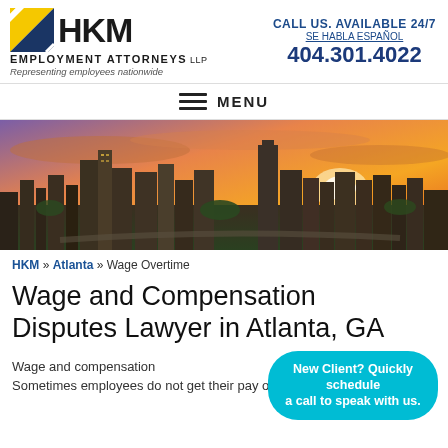[Figure (logo): HKM Employment Attorneys LLP logo with yellow and navy geometric square icon]
CALL US. AVAILABLE 24/7
SE HABLA ESPAÑOL
404.301.4022
≡ MENU
[Figure (photo): Aerial cityscape photo of Atlanta, GA at sunset with orange and purple sky]
HKM » Atlanta » Wage Overtime
Wage and Compensation Disputes Lawyer in Atlanta, GA
Wage and compensation Atlanta. Sometimes employees do not get their pay on time, or the
New Client? Quickly schedule a call to speak with us.